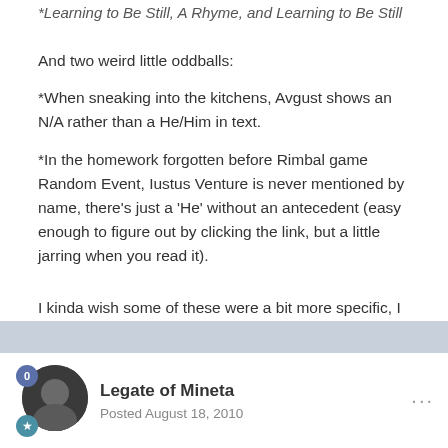*Learning to Be Still, A Rhyme, and Learning to Be Still
And two weird little oddballs:
*When sneaking into the kitchens, Avgust shows an N/A rather than a He/Him in text.
*In the homework forgotten before Rimbal game Random Event, Iustus Venture is never mentioned by name, there's just a 'He' without an antecedent (easy enough to figure out by clicking the link, but a little jarring when you read it).
I kinda wish some of these were a bit more specific, I was just dashing them off as I went because I wanted to get in and play more. I'll report more as I find them.
Legate of Mineta
Posted August 18, 2010